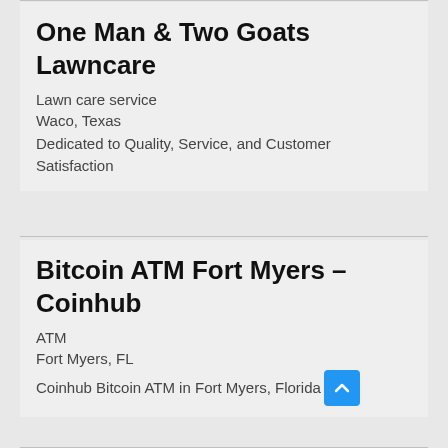One Man & Two Goats Lawncare
Lawn care service
Waco, Texas
Dedicated to Quality, Service, and Customer Satisfaction
Bitcoin ATM Fort Myers – Coinhub
ATM
Fort Myers, FL
Coinhub Bitcoin ATM in Fort Myers, Florida